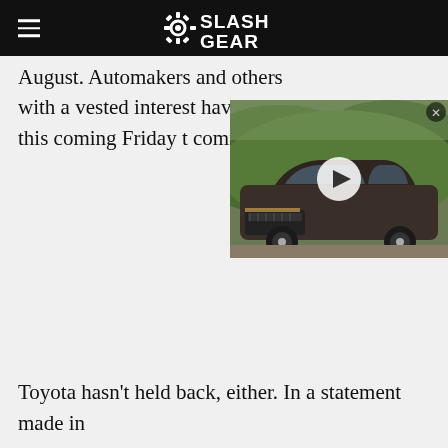SlashGear
August. Automakers and others with a vested interest have until this coming Friday t comments.
[Figure (photo): Video thumbnail showing a dark brown/bronze Cadillac electric SUV (Cadillac Lyriq) parked on a road with green hills in the background. A white play button triangle is overlaid in the center.]
Toyota hasn't held back, either. In a statement made in